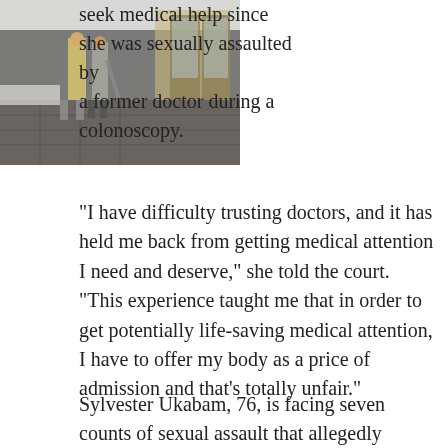seek medical help since she was sexually assaulted by a former doctor during a colonoscopy.
[Figure (photo): Two people standing outside a building entrance in winter, snow visible on the ground]
“I have difficulty trusting doctors, and it has held me back from getting medical attention I need and deserve,” she told the court. “This experience taught me that in order to get potentially life-saving medical attention, I have to offer my body as a price of admission and that’s totally unfair.”
Sylvester Ukabam, 76, is facing seven counts of sexual assault that allegedly occurred between December 2010 and April 2017. A publication ban